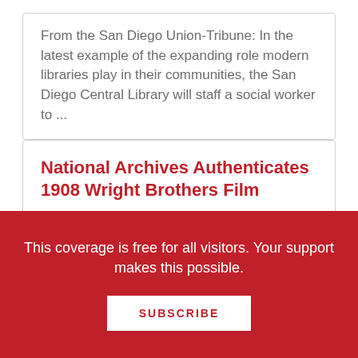From the San Diego Union-Tribune: In the latest example of the expanding role modern libraries play in their communities, the San Diego Central Library will staff a social worker to ...
National Archives Authenticates 1908 Wright Brothers Film
From a NARA Announcement: Motion picture preservation experts at the National Archives and Records Administration (NARA) have authenticated 1908 footage of a Wright Flyer test flight as the earliest known ...
This coverage is free for all visitors. Your support makes this possible.
SUBSCRIBE